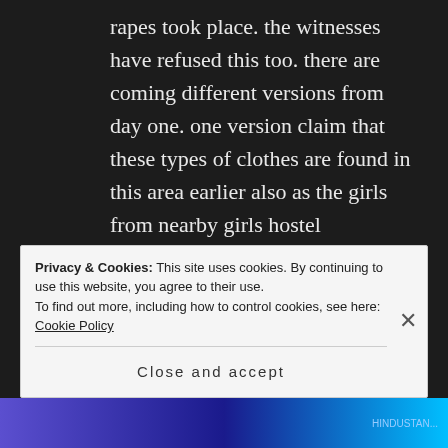rapes took place. the witnesses have refused this too. there are coming different versions from day one. one version claim that these types of clothes are found in this area earlier also as the girls from nearby girls hostel sometimes discard old clothes in garbage. now the news is coming police may be involved. one version was that it was all because a domestic dispute. as the women who reported this as victims had some domestic dispute with the culprits
Privacy & Cookies: This site uses cookies. By continuing to use this website, you agree to their use.
To find out more, including how to control cookies, see here: Cookie Policy
Close and accept